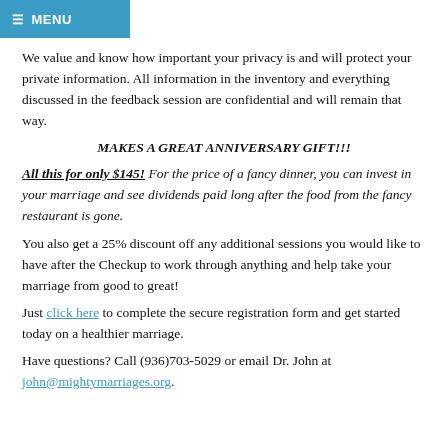≡ MENU
We value and know how important your privacy is and will protect your private information. All information in the inventory and everything discussed in the feedback session are confidential and will remain that way.
MAKES A GREAT ANNIVERSARY GIFT!!!
All this for only $145! For the price of a fancy dinner, you can invest in your marriage and see dividends paid long after the food from the fancy restaurant is gone.
You also get a 25% discount off any additional sessions you would like to have after the Checkup to work through anything and help take your marriage from good to great!
Just click here to complete the secure registration form and get started today on a healthier marriage.
Have questions? Call (936)703-5029 or email Dr. John at john@mightymarriages.org.